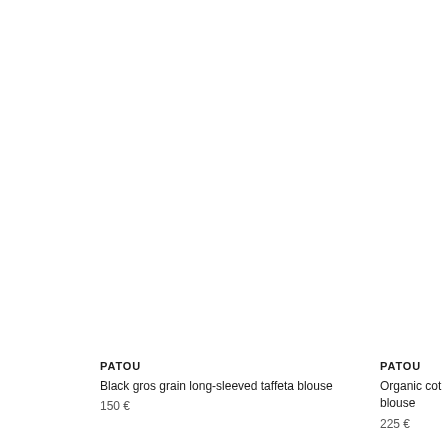PATOU
Black gros grain long-sleeved taffeta blouse
150 €
PATOU
Organic cotton blouse
225 €